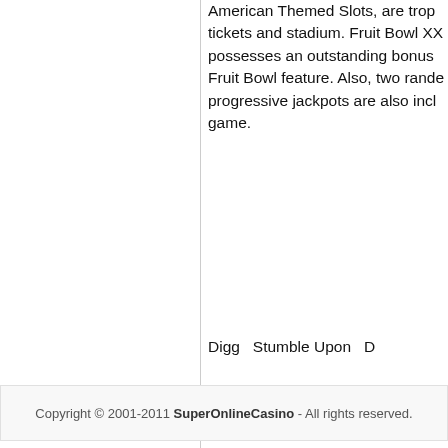American Themed Slots, are trophies, tickets and stadium. Fruit Bowl XX possesses an outstanding bonus Fruit Bowl feature. Also, two random progressive jackpots are also included in the game.
Digg Stumble Upon D
RSS Articles
Copyright © 2001-2011 SuperOnlineCasino - All rights reserved.